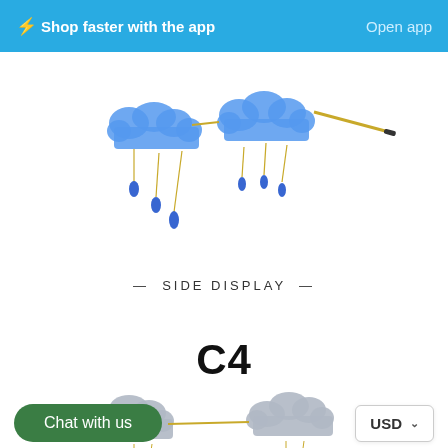⚡Shop faster with the app   Open app
[Figure (photo): Blue cloud-shaped rimless sunglasses with gold chain and blue teardrop crystal dangles, shown from a side/three-quarter angle]
— SIDE DISPLAY —
C4
[Figure (photo): Gray/silver cloud-shaped rimless sunglasses with gold frame and chain dangles, shown from front]
Chat with us
USD